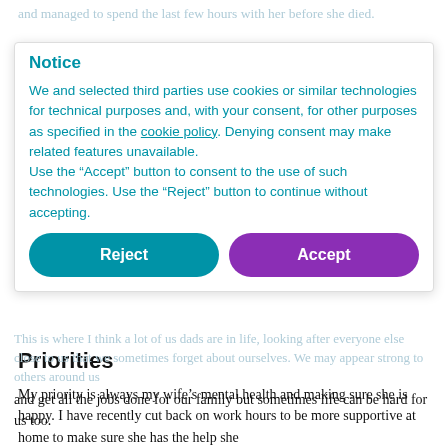and managed to spend the last few hours with her before she died.
Notice
We and selected third parties use cookies or similar technologies for technical purposes and, with your consent, for other purposes as specified in the cookie policy. Denying consent may make related features unavailable.
Use the “Accept” button to consent to the use of such technologies. Use the “Reject” button to continue without accepting.
Reject | Accept (buttons)
and get all the jobs done for our family but sometimes life can be hard for us too.
Priorities
My priority is always my wife’s mental health and making sure she is happy. I have recently cut back on work hours to be more supportive at home to make sure she has the help she